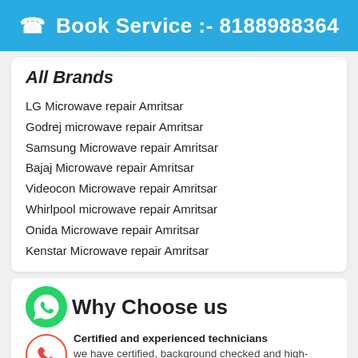Book Service :- 8188988364
All Brands
LG Microwave repair Amritsar
Godrej microwave repair Amritsar
Samsung Microwave repair Amritsar
Bajaj Microwave repair Amritsar
Videocon Microwave repair Amritsar
Whirlpool microwave repair Amritsar
Onida Microwave repair Amritsar
Kenstar Microwave repair Amritsar
Why Choose us
Certified and experienced technicians
we have certified, background checked and high-quality professionals